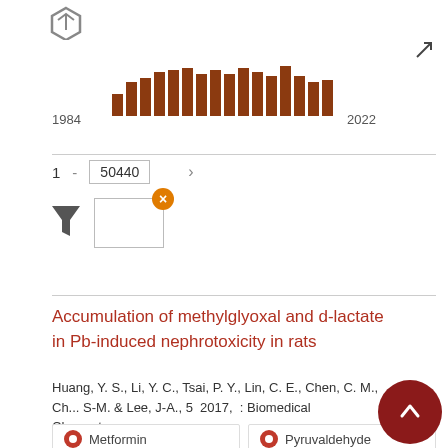[Figure (bar-chart): Publications 1984–2022]
1  - 50440  >
[Figure (other): Filter icon with active filter box and close button]
Accumulation of methylglyoxal and d-lactate in Pb-induced nephrotoxicity in rats
Huang, Y. S., Li, Y. C., Tsai, P. Y., Lin, C. E., Chen, C. M., Ch... S-M. & Lee, J-A., 5  2017,  : Biomedical Chromatograp... :  > >
Metformin
Pyruvaldehyde